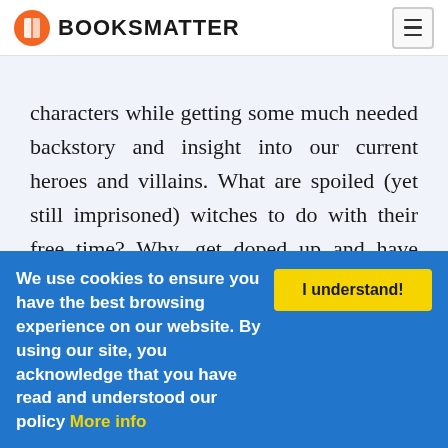BOOKSMATTER
characters while getting some much needed backstory and insight into our current heroes and villains. What are spoiled (yet still imprisoned) witches to do with their free time? Why, get doped up and have witchy sex parties of course and Aine has a front row seat. In between convincing Lucius that there is absolutely nothing going on between her and Daelon, and trying not to get swept up by supercharged magical
We use cookies to ensure you have the best browsing experience on our website. By using our site, you acknowledge that you have read and understood our policy More info